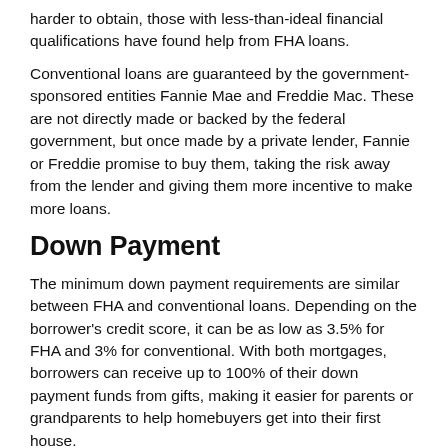harder to obtain, those with less-than-ideal financial qualifications have found help from FHA loans.
Conventional loans are guaranteed by the government-sponsored entities Fannie Mae and Freddie Mac. These are not directly made or backed by the federal government, but once made by a private lender, Fannie or Freddie promise to buy them, taking the risk away from the lender and giving them more incentive to make more loans.
Down Payment
The minimum down payment requirements are similar between FHA and conventional loans. Depending on the borrower's credit score, it can be as low as 3.5% for FHA and 3% for conventional. With both mortgages, borrowers can receive up to 100% of their down payment funds from gifts, making it easier for parents or grandparents to help homebuyers get into their first house.
Credit Score